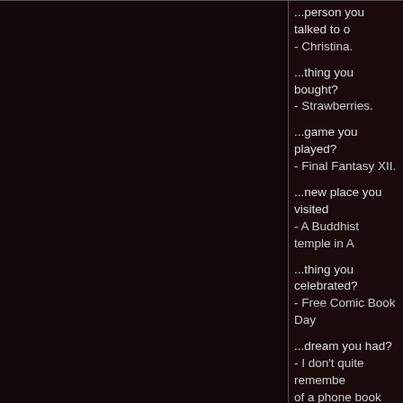...person you talked to? - Christina.
...thing you bought? - Strawberries.
...game you played? - Final Fantasy XII.
...new place you visited? - A Buddhist temple in A...
...thing you celebrated? - Free Comic Book Day...
...dream you had? - I don't quite remember... of a phone book for son... around the corner was t...
...thing you dressed up... - Don't quite remember. from Star Trek: Voyager...
...website you visited ou... - Wikipedia.
Rogue
If you're reading this... You are the Resistance
Posted on 10-17-09 03:12 AM
Bored.